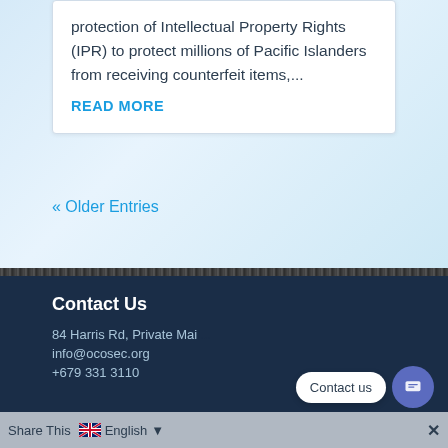protection of Intellectual Property Rights (IPR) to protect millions of Pacific Islanders from receiving counterfeit items,...
READ MORE
« Older Entries
Contact Us
84 Harris Rd, Private Mai...
info@ocosec.org
+679 331 3110
Share This   English   ×